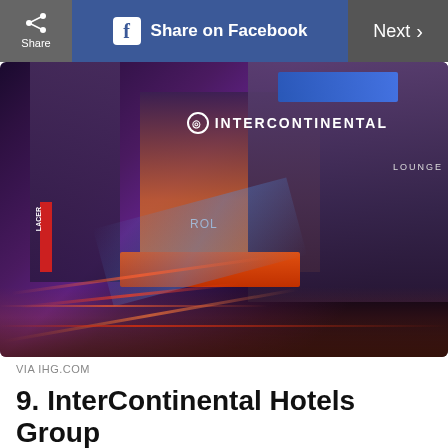Share | Share on Facebook | Next >
[Figure (photo): Night-time street photo of InterContinental Hotels Group building with illuminated signage, light streaks from traffic, and blue/purple lighting]
VIA IHG.COM
9. InterContinental Hotels Group
Another megahotel chain, IHG offers a slew of hotel options, from the grand InterContinentals